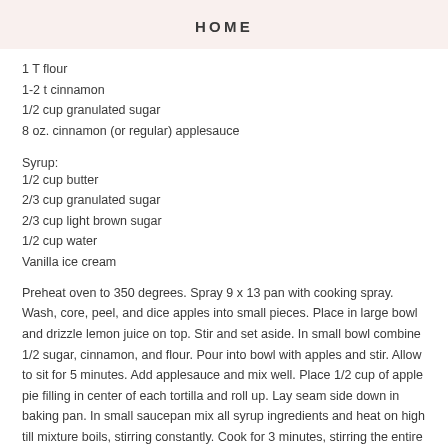HOME
1 T flour
1-2 t cinnamon
1/2 cup granulated sugar
8 oz. cinnamon (or regular) applesauce
Syrup:
1/2 cup butter
2/3 cup granulated sugar
2/3 cup light brown sugar
1/2 cup water
Vanilla ice cream
Preheat oven to 350 degrees. Spray 9 x 13 pan with cooking spray. Wash, core, peel, and dice apples into small pieces. Place in large bowl and drizzle lemon juice on top. Stir and set aside. In small bowl combine 1/2 sugar, cinnamon, and flour. Pour into bowl with apples and stir. Allow to sit for 5 minutes. Add applesauce and mix well. Place 1/2 cup of apple pie filling in center of each tortilla and roll up. Lay seam side down in baking pan. In small saucepan mix all syrup ingredients and heat on high till mixture boils, stirring constantly. Cook for 3 minutes, stirring the entire time. Immediately pour on top of apple enchiladas and let sit for 30 minutes. Bake at 350 degrees for 20 minutes. Serve with vanilla ice cream and enjoy!